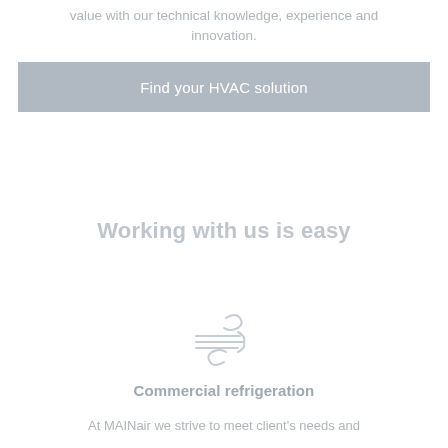value with our technical knowledge, experience and innovation.
Find your HVAC solution
Working with us is easy
[Figure (illustration): Wind/air flow icon with swirling lines representing air circulation or refrigeration]
Commercial refrigeration
At MAINair we strive to meet client's needs and